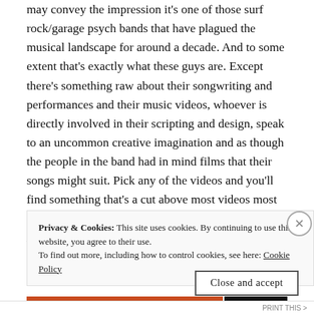may convey the impression it's one of those surf rock/garage psych bands that have plagued the musical landscape for around a decade. And to some extent that's exactly what these guys are. Except there's something raw about their songwriting and performances and their music videos, whoever is directly involved in their scripting and design, speak to an uncommon creative imagination and as though the people in the band had in mind films that their songs might suit. Pick any of the videos and you'll find something that's a cut above most videos most bands are making these days. The band's new album, Heaven
Privacy & Cookies: This site uses cookies. By continuing to use this website, you agree to their use. To find out more, including how to control cookies, see here: Cookie Policy
Close and accept